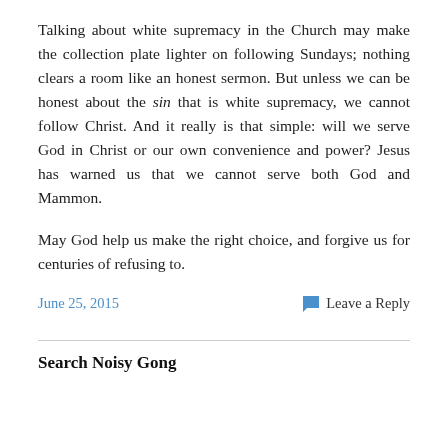Talking about white supremacy in the Church may make the collection plate lighter on following Sundays; nothing clears a room like an honest sermon. But unless we can be honest about the sin that is white supremacy, we cannot follow Christ. And it really is that simple: will we serve God in Christ or our own convenience and power? Jesus has warned us that we cannot serve both God and Mammon.
May God help us make the right choice, and forgive us for centuries of refusing to.
June 25, 2015    Leave a Reply
Search Noisy Gong